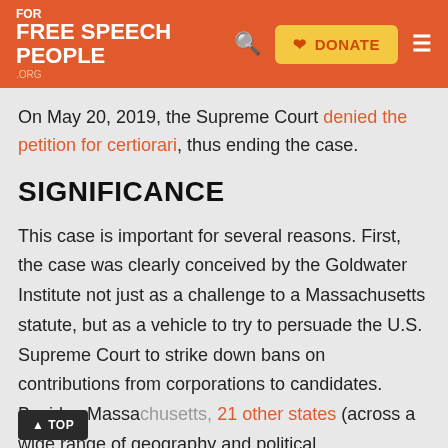Free Speech For People .org — DONATE — navigation
On May 20, 2019, the Supreme Court denied the petition for certiorari, thus ending the case.
SIGNIFICANCE
This case is important for several reasons. First, the case was clearly conceived by the Goldwater Institute not just as a challenge to a Massachusetts statute, but as a vehicle to try to persuade the U.S. Supreme Court to strike down bans on contributions from corporations to candidates. Besides Massachusetts, 21 other states (across a wide range of geography and political